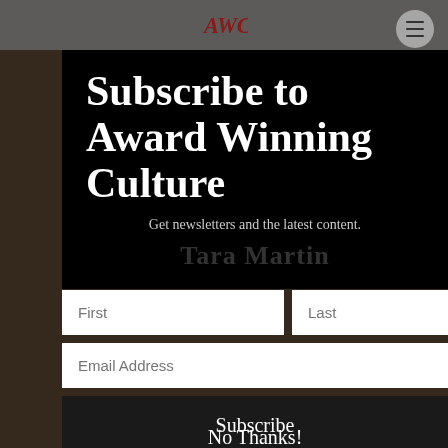[Figure (screenshot): Website subscription modal overlay on a dark photo background showing a newsletter signup form for 'Award Winning Culture' blog/website with AWC logo at top]
Subscribe to Award Winning Culture
Get newsletters and the latest content.
Tara Martin
First
Last
Email Address
Subscribe
No Thanks!